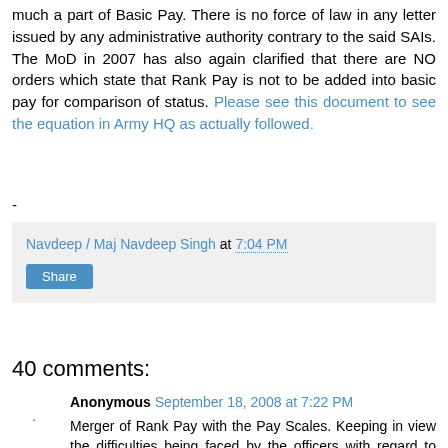much a part of Basic Pay. There is no force of law in any letter issued by any administrative authority contrary to the said SAIs. The MoD in 2007 has also again clarified that there are NO orders which state that Rank Pay is not to be added into basic pay for comparison of status. Please see this document to see the equation in Army HQ as actually followed.
-
Navdeep / Maj Navdeep Singh at 7:04 PM
Share
40 comments:
Anonymous September 18, 2008 at 7:22 PM
Merger of Rank Pay with the Pay Scales. Keeping in view the difficulties being faced by the officers with regard to interpretation of Rank Pay, it is defined as follows :-